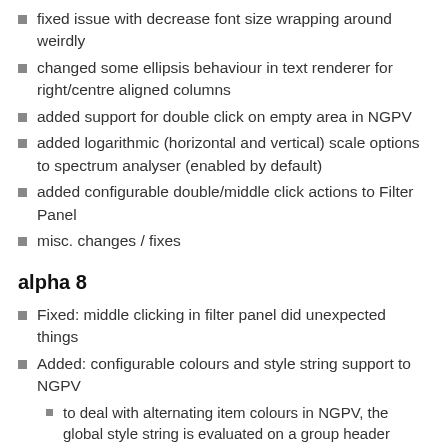fixed issue with decrease font size wrapping around weirdly
changed some ellipsis behaviour in text renderer for right/centre aligned columns
added support for double click on empty area in NGPV
added logarithmic (horizontal and vertical) scale options to spectrum analyser (enabled by default)
added configurable double/middle click actions to Filter Panel
misc. changes / fixes
alpha 8
Fixed: middle clicking in filter panel did unexpected things
Added: configurable colours and style string support to NGPV
to deal with alternating item colours in NGPV, the global style string is evaluated on a group header context and some new fields are added